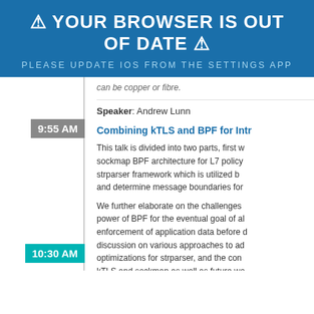⚠ YOUR BROWSER IS OUT OF DATE ⚠
PLEASE UPDATE IOS FROM THE SETTINGS APP
can be copper or fibre.
Speaker: Andrew Lunn
9:55 AM
Combining kTLS and BPF for Intr...
This talk is divided into two parts, first w... sockmap BPF architecture for L7 policy... strparser framework which is utilized b... and determine message boundaries for...
We further elaborate on the challenges... power of BPF for the eventual goal of al... enforcement of application data before d... discussion on various approaches to ad... optimizations for strparser, and the con... kTLS and sockmap as well as future wo...
Speakers: Daniel Borkmann (Cilium), J...
10:30 AM